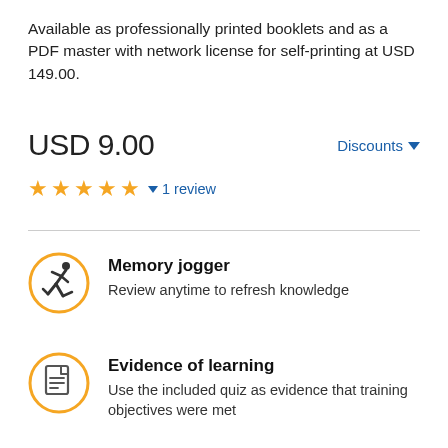Available as professionally printed booklets and as a PDF master with network license for self-printing at USD 149.00.
USD 9.00
Discounts
★★★★★ ▼ 1 review
[Figure (illustration): Orange circle icon with a running figure silhouette]
Memory jogger
Review anytime to refresh knowledge
[Figure (illustration): Orange circle icon with a document/quiz page silhouette]
Evidence of learning
Use the included quiz as evidence that training objectives were met